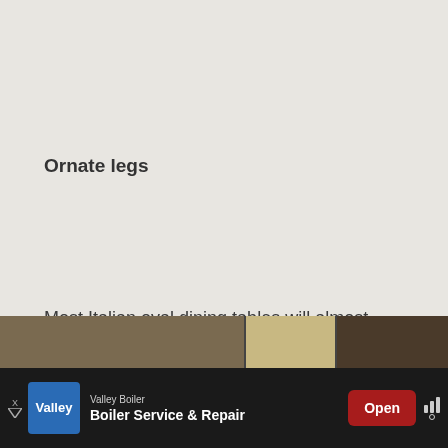Ornate legs
Most Italian oval dining tables will almost always have a very ornate and intricately done up set of legs. Sometimes, it is just one central leg that holds the table in place, especially if the table is small in size. These legs will have elaborate shapes and designs carved on them for added effect.
[Figure (photo): Bottom image strip showing ornate table/furniture details in brown and gold tones]
[Figure (infographic): Advertisement banner: Valley Boiler - Boiler Service & Repair with Open button]